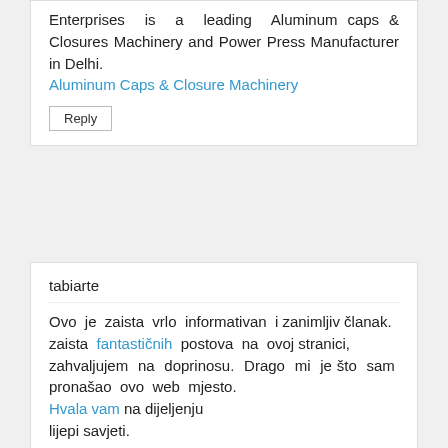Enterprises is a leading Aluminum caps & Closures Machinery and Power Press Manufacturer in Delhi. Aluminum Caps & Closure Machinery
Reply
tabiarte
Ovo je zaista vrlo informativan i zanimljiv članak.
zaista fantastičnih postova na ovoj stranici,
zahvaljujem na doprinosu. Drago mi je što sam pronašao ovo web mjesto.
Hvala vam na dijeljenju
lijepi savjeti.
Reply
Fanny Sheren
LIONDOMINO ADALAH SITUS TERBAIK YANG MENGGUNAKAN UANG ASLI YANG